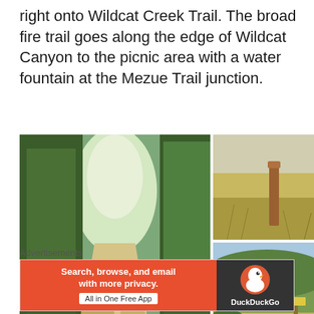right onto Wildcat Creek Trail. The broad fire trail goes along the edge of Wildcat Canyon to the picnic area with a water fountain at the Mezue Trail junction.
[Figure (photo): Collage of trail photos: large center-left image of a wide dirt fire trail flanked by dense green trees and shrubs; top-right photo of a brown wooden trail marker post in dry golden grass; middle-right photo of an open clearing with trees and a yellow trail sign post; bottom row of three smaller trail photos showing forested trail scenes.]
Advertisements
[Figure (screenshot): DuckDuckGo advertisement banner: orange left panel with white bold text 'Search, browse, and email with more privacy. All in One Free App' and dark right panel with DuckDuckGo duck logo and brand name.]